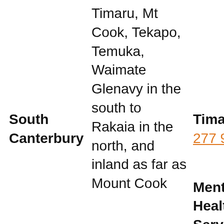| South Canterbury | Timaru, Mt Cook, Tekapo, Temuka, Waimate Glenavy in the south to Rakaia in the north, and inland as far as Mount Cook | Timaru 0800 277 997 |
|  |  | Mental Health Services |
|  | Dunedin |  |